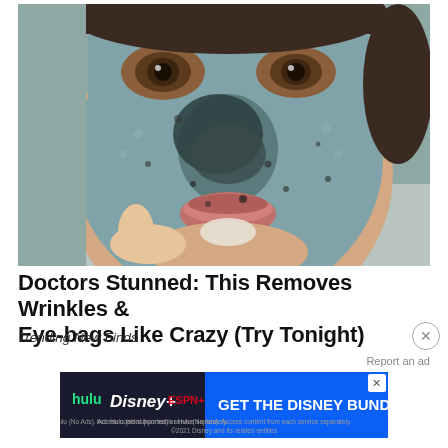[Figure (photo): Close-up photo of a person wearing a blue-grey clay face mask with black charcoal spots, peeling it off near the chin area. Brown eyes visible above the mask.]
Doctors Stunned: This Removes Wrinkles & Eye-bags Like Crazy (Try Tonight)
Trending New Finds
[Figure (infographic): Disney Bundle advertisement banner with Hulu, Disney+, and ESPN+ logos and text 'GET THE DISNEY BUNDLE'. Disclaimer text reads: Incl. Hulu (ad-supported) or Hulu (No Ads). Access content from each service separately. ©2021 Disney and its related entities]